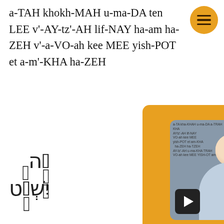a-TAH khokh-MAH u-ma-DA ten LEE v'-AY-tz'-AH lif-NAY ha-am ha-ZEH v'-a-VO-ah kee MEE yish-POT et a-m'-KHA ha-ZEH
גָּ֥ה יִשְׁפֹּ֖ט
1:10  Fo...
[Figure (screenshot): Orange popup overlay with video thumbnail showing a smiling man in a light blue shirt with text overlay, a play button, the heading ENRICH YOUR LIFE WITH ISRAEL AND THE BIBLE, and a JOIN THE TRIBE button]
ENRICH YOUR LIFE WITH ISRAEL AND THE BIBLE
JOIN THE TRIBE